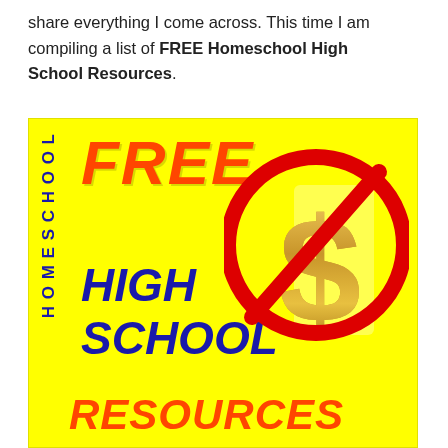share everything I come across. This time I am compiling a list of FREE Homeschool High School Resources.
[Figure (illustration): Yellow background promotional image for Free Homeschool High School Resources. Left side has 'HOMESCHOOL' written vertically in dark blue bold letters. Large orange italic 'FREE' text at top. Dark blue bold italic 'HIGH SCHOOL' in the middle. Orange italic 'RESOURCES' at the bottom. On the right side is a red circle with a diagonal slash (no symbol) over a gold dollar sign.]